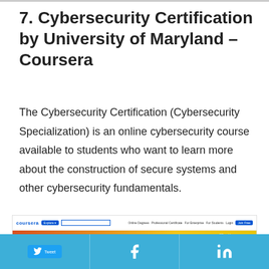7. Cybersecurity Certification by University of Maryland – Coursera
The Cybersecurity Certification (Cybersecurity Specialization) is an online cybersecurity course available to students who want to learn more about the construction of secure systems and other cybersecurity fundamentals.
[Figure (screenshot): Screenshot of the Coursera Cybersecurity Specialization course page showing the course title 'Cybersecurity Specialization' on a red-to-yellow gradient background with navigation bar at the top.]